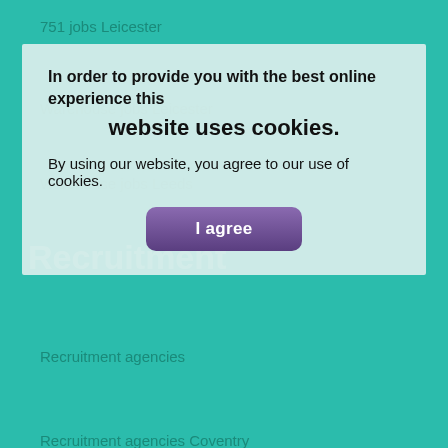751 jobs Leicester
Warehouse jobs Leicester
Warehouse jobs Leeds
Recruitment
Recruitment agencies
Recruitment agencies Coventry
In order to provide you with the best online experience this website uses cookies.
By using our website, you agree to our use of cookies.
I agree
Recruitment agencies Leeds
Warehouse jobs near me
Best recruitment agencies
Partners
[Figure (logo): Jooble logo with green and blue text on white background]